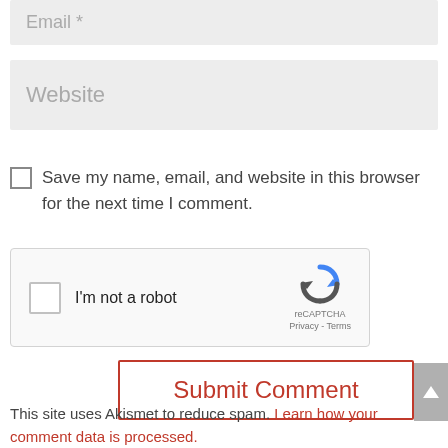Email *
Website
Save my name, email, and website in this browser for the next time I comment.
[Figure (other): reCAPTCHA widget with checkbox labeled 'I'm not a robot' and Google reCAPTCHA logo with Privacy and Terms links]
Submit Comment
This site uses Akismet to reduce spam. Learn how your comment data is processed.